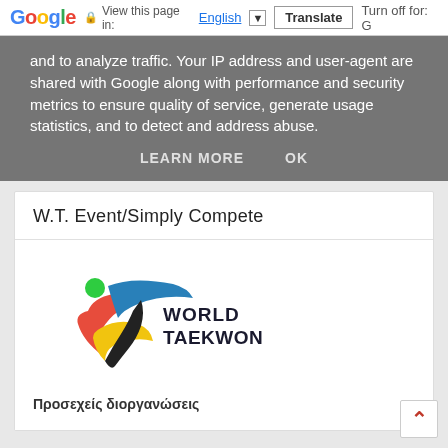Google  View this page in: English ▼  Translate  Turn off for: G
and to analyze traffic. Your IP address and user-agent are shared with Google along with performance and security metrics to ensure quality of service, generate usage statistics, and to detect and address abuse.
LEARN MORE   OK
W.T. Event/Simply Compete
[Figure (logo): World Taekwondo logo with stylized figure and colored swoosh marks in red, blue, yellow, green, black, with text WORLD TAEKWONDO]
Προσεχείς διοργανώσεις